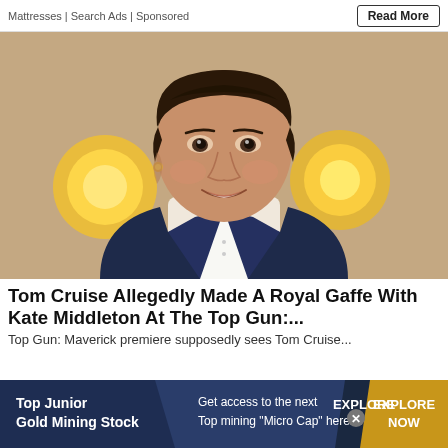Mattresses | Search Ads | Sponsored  Read More
[Figure (photo): Photo of Tom Cruise wearing a dark navy tuxedo with bow tie, smiling, with golden bokeh lights in the background]
Tom Cruise Allegedly Made A Royal Gaffe With Kate Middleton At The Top Gun:...
Top Gun: Maverick premiere supposedly sees Tom Cruise...
[Figure (infographic): Advertisement banner: Top Junior Gold Mining Stock — Get access to the next Top mining "Micro Cap" here! — EXPLORE NOW]